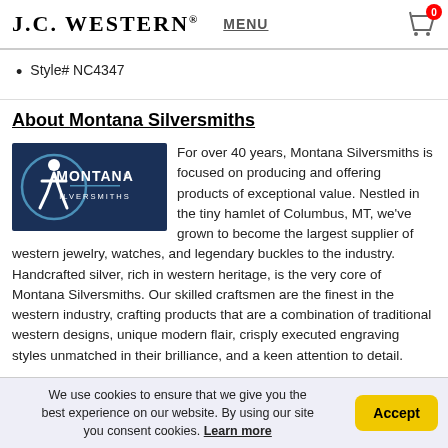J.C. WESTERN® | MENU | Cart (0)
Style# NC4347
About Montana Silversmiths
[Figure (logo): Montana Silversmiths logo: dark navy background with accessibility icon on left and MONTANA SILVERSMITHS text in white]
For over 40 years, Montana Silversmiths is focused on producing and offering products of exceptional value. Nestled in the tiny hamlet of Columbus, MT, we've grown to become the largest supplier of western jewelry, watches, and legendary buckles to the industry. Handcrafted silver, rich in western heritage, is the very core of Montana Silversmiths. Our skilled craftsmen are the finest in the western industry, crafting products that are a combination of traditional western designs, unique modern flair, crisply executed engraving styles unmatched in their brilliance, and a keen attention to detail.
We use cookies to ensure that we give you the best experience on our website. By using our site you consent cookies. Learn more